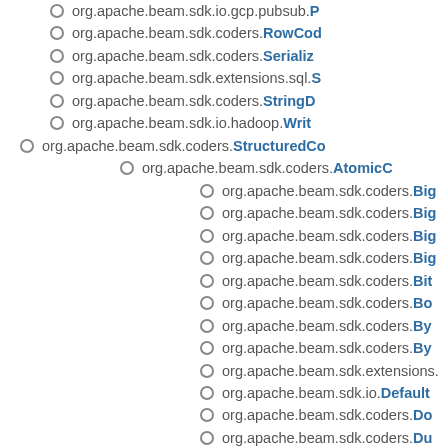org.apache.beam.sdk.io.gcp.pubsub.P...
org.apache.beam.sdk.coders.RowCod...
org.apache.beam.sdk.coders.Serializa...
org.apache.beam.sdk.extensions.sql.S...
org.apache.beam.sdk.coders.StringD...
org.apache.beam.sdk.io.hadoop.Writa...
org.apache.beam.sdk.coders.StructuredCo...
org.apache.beam.sdk.coders.AtomicC...
org.apache.beam.sdk.coders.Big...
org.apache.beam.sdk.coders.Big...
org.apache.beam.sdk.coders.Big...
org.apache.beam.sdk.coders.Big...
org.apache.beam.sdk.coders.Bit...
org.apache.beam.sdk.coders.Bo...
org.apache.beam.sdk.coders.By...
org.apache.beam.sdk.coders.By...
org.apache.beam.sdk.extensions...
org.apache.beam.sdk.io.Default...
org.apache.beam.sdk.coders.Do...
org.apache.beam.sdk.coders.Du...
org.apache.beam.sdk.fn.window...
org.apache.beam.sdk.coders.Ins...
org.apache.beam.sdk.io.fs.Meta...
org.apache.beam.sdk.transforms...
org.apache.beam.runners.datafl...
org.apache.beam.sdk.io.Readab...
org.apache.beam.sdk.io.fs.Reso...
org.apache.beam.sdk.extensions...